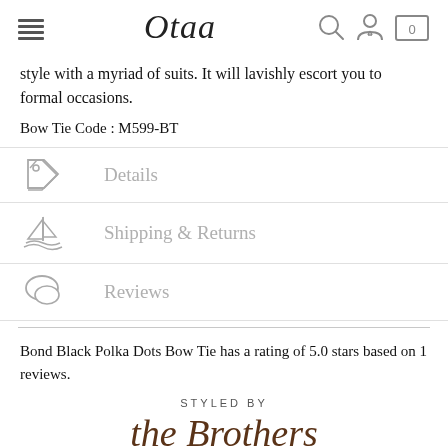Otaa — navigation header with menu, logo, search, account, and cart icons
style with a myriad of suits. It will lavishly escort you to formal occasions.
Bow Tie Code : M599-BT
Details
Shipping & Returns
Reviews
Bond Black Polka Dots Bow Tie has a rating of 5.0 stars based on 1 reviews.
STYLED BY
the Brothers